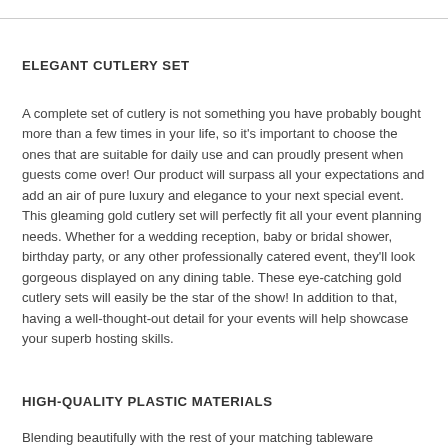ELEGANT CUTLERY SET
A complete set of cutlery is not something you have probably bought more than a few times in your life, so it's important to choose the ones that are suitable for daily use and can proudly present when guests come over! Our product will surpass all your expectations and add an air of pure luxury and elegance to your next special event. This gleaming gold cutlery set will perfectly fit all your event planning needs. Whether for a wedding reception, baby or bridal shower, birthday party, or any other professionally catered event, they'll look gorgeous displayed on any dining table. These eye-catching gold cutlery sets will easily be the star of the show! In addition to that, having a well-thought-out detail for your events will help showcase your superb hosting skills.
HIGH-QUALITY PLASTIC MATERIALS
Blending beautifully with the rest of your matching tableware